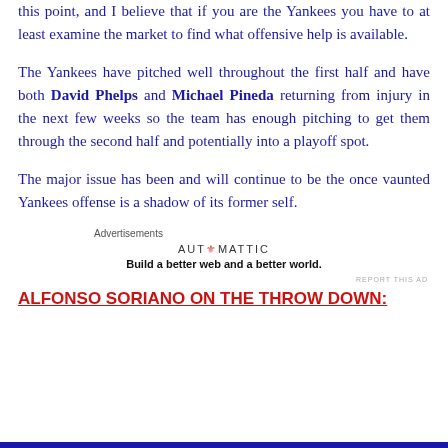this point, and I believe that if you are the Yankees you have to at least examine the market to find what offensive help is available.
The Yankees have pitched well throughout the first half and have both David Phelps and Michael Pineda returning from injury in the next few weeks so the team has enough pitching to get them through the second half and potentially into a playoff spot.
The major issue has been and will continue to be the once vaunted Yankees offense is a shadow of its former self.
[Figure (other): Automattic advertisement: 'Build a better web and a better world.']
ALFONSO SORIANO ON THE THROW DOWN: